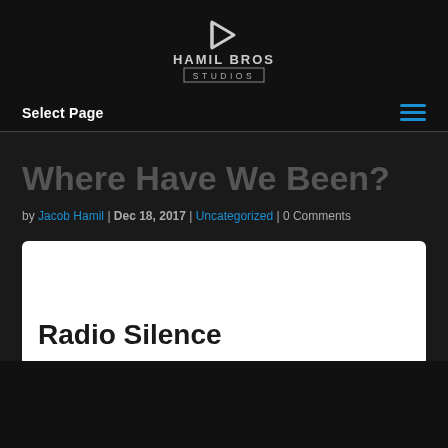[Figure (logo): Hamil Bros Studios logo with play button triangle icon and text 'HAMIL BROS STUDIOS']
Select Page
Where Have We Been?
by Jacob Hamil | Dec 18, 2017 | Uncategorized | 0 Comments
Radio Silence